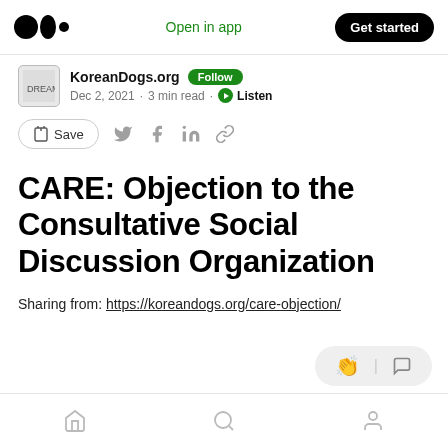Open in app  Get started
KoreanDogs.org  Follow  Dec 2, 2021 · 3 min read · Listen
Save
CARE: Objection to the Consultative Social Discussion Organization
Sharing from: https://koreandogs.org/care-objection/
Home  Search  Profile